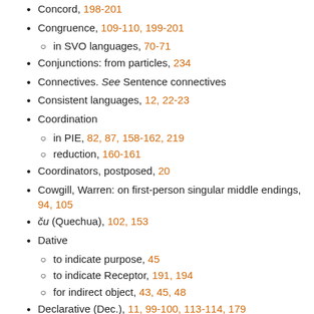Concord, 198-201
Congruence, 109-110, 199-201
in SVO languages, 70-71
Conjunctions: from particles, 234
Connectives. See Sentence connectives
Consistent languages, 12, 22-23
Coordination
in PIE, 82, 87, 158-162, 219
reduction, 160-161
Coordinators, postposed, 20
Cowgill, Warren: on first-person singular middle endings, 94, 105
cu (Quechua), 102, 153
Dative
to indicate purpose, 45
to indicate Receptor, 191, 194
for indirect object, 43, 45, 48
Declarative (Dec.), 11, 99-100, 113-114, 179